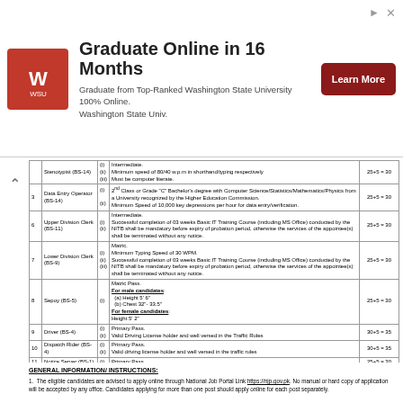[Figure (other): Advertisement banner for Washington State University online graduate program with logo, text 'Graduate Online in 16 Months', and Learn More button]
| S.No | Post | Sub | Qualification/Experience | Age Limit |
| --- | --- | --- | --- | --- |
|  | Stenotypist (BS-14) | (i)
(ii)
(iii) | Intermediate.
Minimum speed of 80/40 w.p.m in shorthand/typing respectively
Must be computer literate. | 25+5 = 30 |
| 3 | Data Entry Operator (BS-14) | (i)
(ii) | 2nd Class or Grade 'C' Bachelor's degree with Computer Science/Statistics/Mathematics/Physics from a University recognized by the Higher Education Commission.
Minimum Speed of 10,000 key depressions per hour for data entry/verification. | 25+5 = 30 |
| 6 | Upper Division Clerk (BS-11) | (i)
(ii) | Intermediate.
Successful completion of 03 weeks Basic IT Training Course (including MS Office) conducted by the NITB shall be mandatory before expiry of probation period, otherwise the services of the appointee(s) shall be terminated without any notice. | 25+5 = 30 |
| 7 | Lower Division Clerk (BS-9) | (i)
(ii)
(iii) | Matric.
Minimum Typing Speed of 30 WPM.
Successful completion of 03 weeks Basic IT Training Course (including MS Office) conducted by the NITB shall be mandatory before expiry of probation period, otherwise the services of the appointee(s) shall be terminated without any notice. | 25+5 = 30 |
| 8 | Sepoy (BS-5) | (i) | Matric Pass.
For male candidates:
(a) Height 5' 6"
(b) Chest 32"- 33.5"
For female candidates:
Height 5' 2" | 25+5 = 30 |
| 9 | Driver (BS-4) | (i)
(ii) | Primary Pass.
Valid Driving License holder and well versed in the Traffic Rules | 30+5 = 35 |
| 10 | Dispatch Rider (BS-4) | (i)
(ii) | Primary Pass.
Valid driving license holder and well versed in the traffic rules | 30+5 = 35 |
| 11 | Notice Server (BS-1) | (i) | Primary Pass. | 25+5 = 30 |
| 12 | Nigh Qasid (BS-1) | (i) | Primary Pass. | 25+5 = 30 |
| 13 | Chowkidar (BS-1) | (i) | Primary Pass. | 25+5 = 30 |
| 14 | Mali (BS-1) | (i) | Primary Pass. | 25+5 = 30 |
| 15 | Farrash (BS-1) | (i) | Primary Pass. | 25+5 = 30 |
| 16 | Armed Guard (BS-1) | (i) | Primary Pass. | 25+5 = 30 |
| 17 | Bailiff (BS-1) | (i) | Primary Pass. | 25+5 = 30 |
GENERAL INFORMATION/ INSTRUCTIONS:
The eligible candidates are advised to apply online through National Job Portal Link https://njp.gov.pk. No manual or hard copy of application will be accepted by any office. Candidates applying for more than one post should apply online for each post separately.